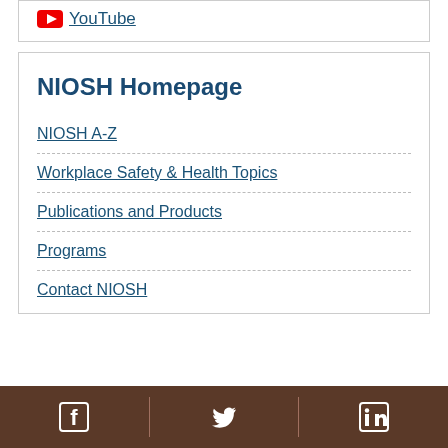YouTube
NIOSH Homepage
NIOSH A-Z
Workplace Safety & Health Topics
Publications and Products
Programs
Contact NIOSH
[Figure (other): Footer bar with Facebook, Twitter, and LinkedIn social media icons on a brown background]